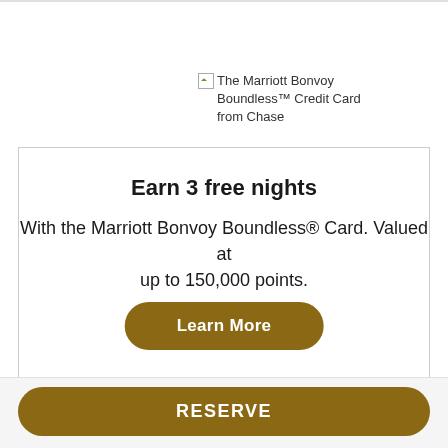[Figure (other): Broken image placeholder for The Marriott Bonvoy Boundless Credit Card from Chase]
The Marriott Bonvoy Boundless™ Credit Card from Chase
Earn 3 free nights
With the Marriott Bonvoy Boundless® Card. Valued at up to 150,000 points.
Learn More
RESERVE